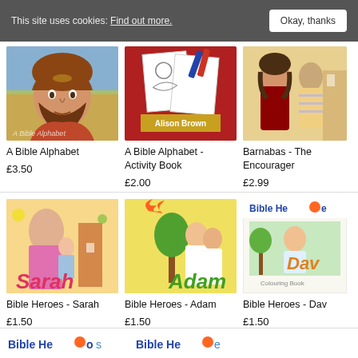This site uses cookies: Find out more.   Okay, thanks
[Figure (photo): Book cover: A Bible Alphabet - illustration of a bearded man in ancient clothing]
A Bible Alphabet
£3.50
[Figure (photo): Book cover: A Bible Alphabet - Activity Book by Alison Brown - coloring pages]
A Bible Alphabet - Activity Book
£2.00
[Figure (photo): Book cover: Barnabas - The Encourager - illustration of biblical figures]
Barnabas - The Encourager
£2.99
[Figure (photo): Book cover: Bible Heroes - Sarah - colorful illustration with 'Sarah' in red letters]
Bible Heroes - Sarah
£1.50
[Figure (photo): Book cover: Bible Heroes - Adam - colorful illustration with 'Adam' in green letters]
Bible Heroes - Adam
£1.50
[Figure (photo): Book cover: Bible Heroes - David (partially visible) - Colouring Book]
Bible Heroes - Dav
£1.50
[Figure (logo): Bible Heroes logo (bottom left)]
[Figure (logo): Bible Heroes logo (bottom right, partially visible)]